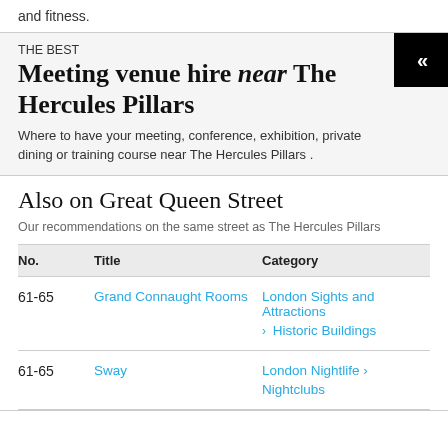and fitness.
THE BEST
Meeting venue hire near The Hercules Pillars
Where to have your meeting, conference, exhibition, private dining or training course near The Hercules Pillars .
Also on Great Queen Street
Our recommendations on the same street as The Hercules Pillars
| No. | Title | Category |
| --- | --- | --- |
| 61-65 | Grand Connaught Rooms | London Sights and Attractions > Historic Buildings |
| 61-65 | Sway | London Nightlife > Nightclubs |